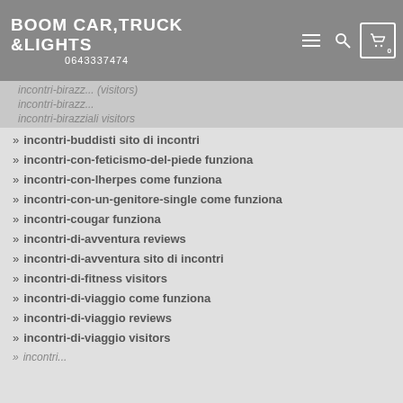BOOM CAR,TRUCK &LIGHTS 0643337474
incontri-buddisti sito di incontri
incontri-con-feticismo-del-piede funziona
incontri-con-lherpes come funziona
incontri-con-un-genitore-single come funziona
incontri-cougar funziona
incontri-di-avventura reviews
incontri-di-avventura sito di incontri
incontri-di-fitness visitors
incontri-di-viaggio come funziona
incontri-di-viaggio reviews
incontri-di-viaggio visitors